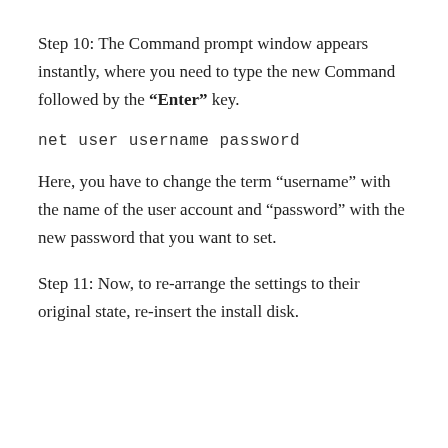Step 10: The Command prompt window appears instantly, where you need to type the new Command followed by the “Enter” key.
net user username password
Here, you have to change the term “username” with the name of the user account and “password” with the new password that you want to set.
Step 11: Now, to re-arrange the settings to their original state, re-insert the install disk.